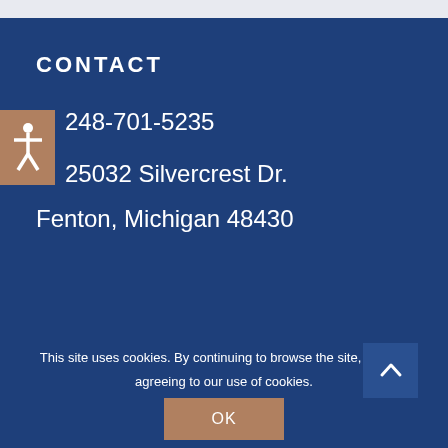CONTACT
248-701-5235
25032 Silvercrest Dr.
Fenton, Michigan 48430
This site uses cookies. By continuing to browse the site, you are agreeing to our use of cookies.
OK